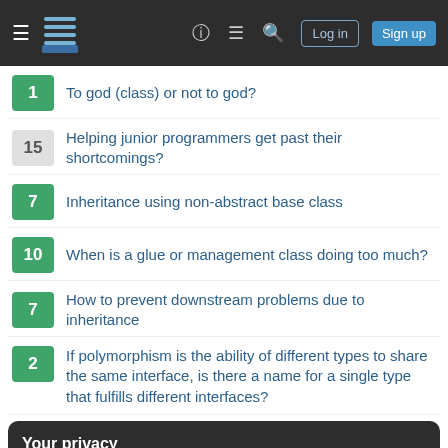Stack Exchange navigation bar with Log in and Sign up buttons
1 — To god (class) or not to god?
15 — Helping junior programmers get past their shortcomings?
7 — Inheritance using non-abstract base class
10 — When is a glue or management class doing too much?
7 — How to prevent downstream problems due to inheritance
2 — If polymorphism is the ability of different types to share the same interface, is there a name for a single type that fulfills different interfaces?
Your privacy
By clicking "Accept all cookies", you agree Stack Exchange can store cookies on your device and disclose information in accordance with our Cookie Policy.
8 — Inheritance, Composition and Protocols